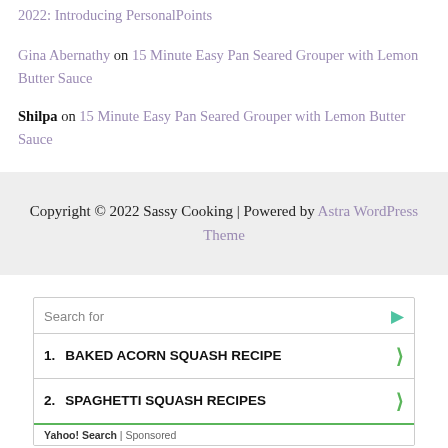2022: Introducing PersonalPoints
Gina Abernathy on 15 Minute Easy Pan Seared Grouper with Lemon Butter Sauce
Shilpa on 15 Minute Easy Pan Seared Grouper with Lemon Butter Sauce
Copyright © 2022 Sassy Cooking | Powered by Astra WordPress Theme
[Figure (screenshot): Yahoo Search sponsored ad box with 'Search for' header, listing 1. BAKED ACORN SQUASH RECIPE and 2. SPAGHETTI SQUASH RECIPES, with green chevron arrows, Yahoo! Search | Sponsored footer]